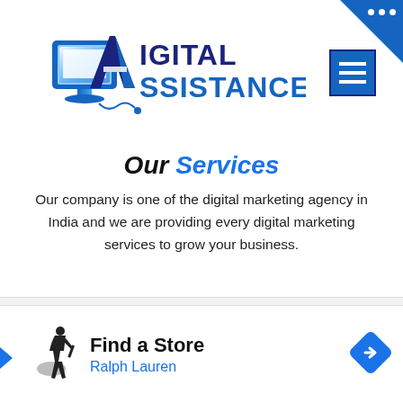[Figure (logo): Digital Assistance logo with stylized computer monitor and 'A' letterform, text reading DIGITAL ASSISTANCE]
[Figure (other): Hamburger menu button - blue square with three white horizontal lines]
Our Services
Our company is one of the digital marketing agency in India and we are providing every digital marketing services to grow your business.
[Figure (screenshot): Gray section with dropdown chevron button on left and partial content below]
[Figure (infographic): Ad bar at bottom showing Ralph Lauren polo player logo, Find a Store text, Ralph Lauren brand name in blue, and a blue diamond directional icon on right]